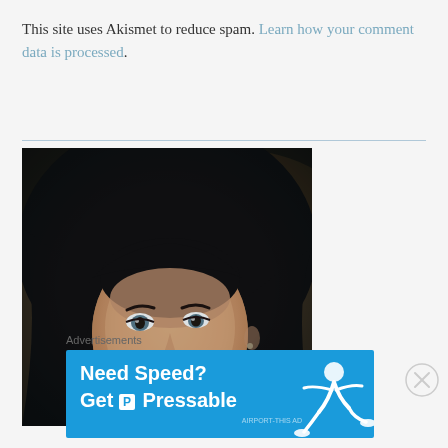This site uses Akismet to reduce spam. Learn how your comment data is processed.
[Figure (photo): Portrait photo of a young woman with dark hair, selfie style, smiling slightly, indoor background]
Advertisements
[Figure (infographic): Advertisement banner: Need Speed? Get P Pressable — blue background with running figure graphic]